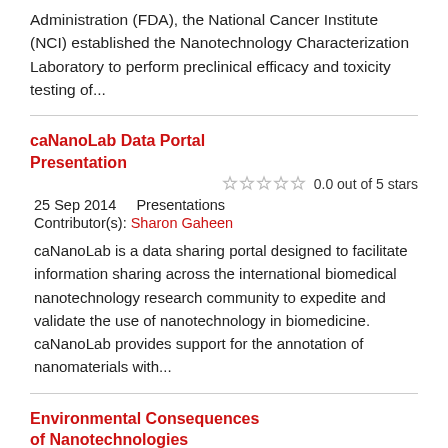Administration (FDA), the National Cancer Institute (NCI) established the Nanotechnology Characterization Laboratory to perform preclinical efficacy and toxicity testing of...
caNanoLab Data Portal Presentation
0.0 out of 5 stars
25 Sep 2014    Presentations
Contributor(s): Sharon Gaheen
caNanoLab is a data sharing portal designed to facilitate information sharing across the international biomedical nanotechnology research community to expedite and validate the use of nanotechnology in biomedicine. caNanoLab provides support for the annotation of nanomaterials with...
Environmental Consequences of Nanotechnologies